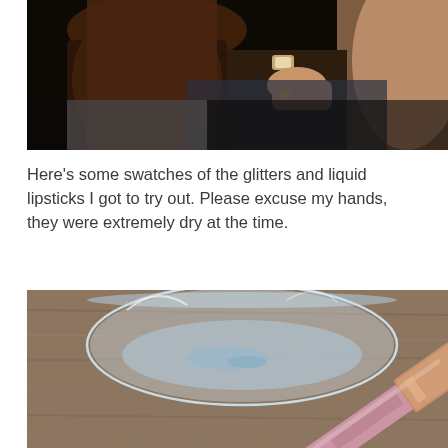[Figure (photo): Dark indoor photo showing people sitting close together, one person with long brown hair visible from behind, another person wearing a watch and rings with hands visible in lap]
Here’s some swatches of the glitters and liquid lipsticks I got to try out. Please excuse my hands, they were extremely dry at the time.
[Figure (photo): Close-up photo of a glass of water on a wooden table surface with a pink/rose gold metallic object (likely a lipstick or cosmetic product) in the lower right corner]